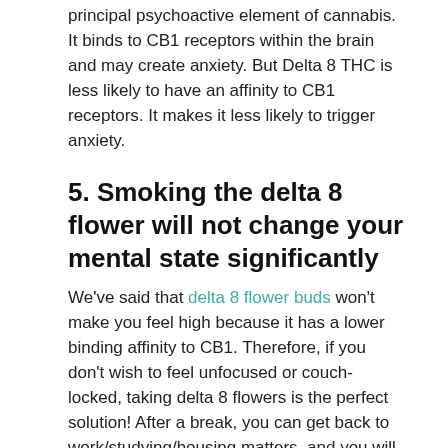principal psychoactive element of cannabis. It binds to CB1 receptors within the brain and may create anxiety. But Delta 8 THC is less likely to have an affinity to CB1 receptors. It makes it less likely to trigger anxiety.
5. Smoking the delta 8 flower will not change your mental state significantly
We've said that delta 8 flower buds won't make you feel high because it has a lower binding affinity to CB1. Therefore, if you don't wish to feel unfocused or couch-locked, taking delta 8 flowers is the perfect solution! After a break, you can get back to work/studying/housing matters, and you will be comfortable.